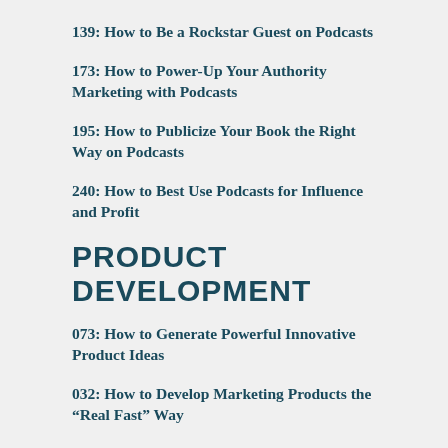139: How to Be a Rockstar Guest on Podcasts
173: How to Power-Up Your Authority Marketing with Podcasts
195: How to Publicize Your Book the Right Way on Podcasts
240: How to Best Use Podcasts for Influence and Profit
PRODUCT DEVELOPMENT
073: How to Generate Powerful Innovative Product Ideas
032: How to Develop Marketing Products the “Real Fast” Way